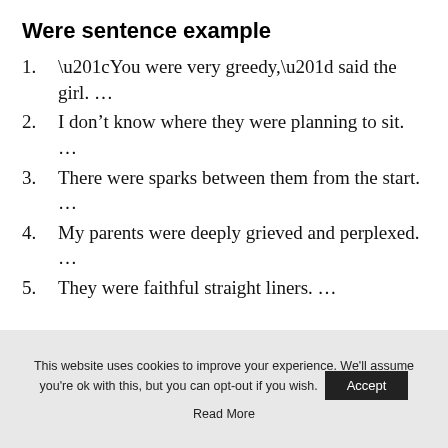Were sentence example
“You were very greedy,” said the girl. …
I don’t know where they were planning to sit. …
There were sparks between them from the start. …
My parents were deeply grieved and perplexed. …
They were faithful straight liners. …
This website uses cookies to improve your experience. We'll assume you're ok with this, but you can opt-out if you wish. Accept
Read More